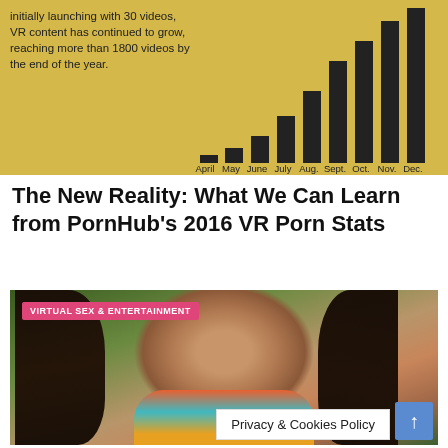[Figure (bar-chart): Bar chart showing VR video content growing from April through December, starting at 30 videos and reaching more than 1800 by end of year. Categories: April, May, June, July, Aug., Sept., Oct., Nov., Dec.]
initially launching with 30 videos, VR content has continued to grow, reaching more than 1800 videos by the end of the year.
The New Reality: What We Can Learn from PornHub's 2016 VR Porn Stats
[Figure (photo): Photo of a woman with long dark hair wearing a colorful bikini top, with trees in background. Badge reads: VIRTUAL SEX & ENTERTAINMENT]
Privacy & Cookies Policy